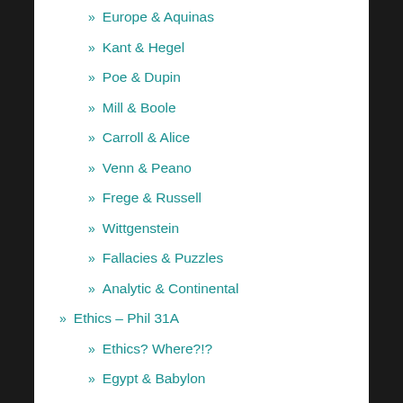» Europe & Aquinas
» Kant & Hegel
» Poe & Dupin
» Mill & Boole
» Carroll & Alice
» Venn & Peano
» Frege & Russell
» Wittgenstein
» Fallacies & Puzzles
» Analytic & Continental
» Ethics – Phil 31A
» Ethics? Where?!?
» Egypt & Babylon
» Hindus & Jains
» Buddha